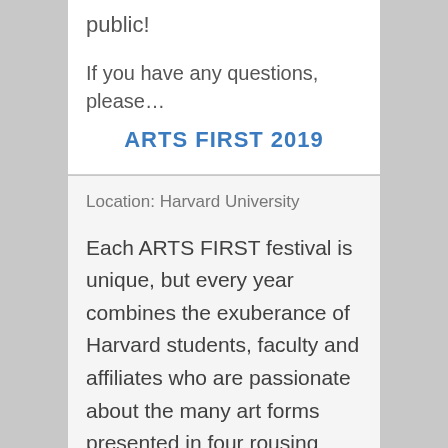public!
If you have any questions, please…
ARTS FIRST 2019
Location: Harvard University
Each ARTS FIRST festival is unique, but every year combines the exuberance of Harvard students, faculty and affiliates who are passionate about the many art forms presented in four rousing days of performances, exhibitions and community.